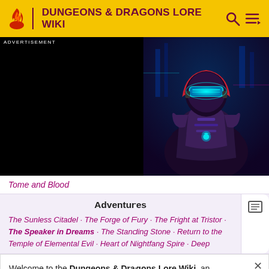DUNGEONS & DRAGONS LORE WIKI
[Figure (screenshot): Advertisement banner with a black background showing a cyberpunk character with glowing blue visor and red hood, futuristic armor, city lights in background.]
Tome and Blood
Adventures
The Sunless Citadel · The Forge of Fury · The Fright at Tristor · The Speaker in Dreams · The Standing Stone · Return to the Temple of Elemental Evil · Heart of Nightfang Spire · Deep
Welcome to the Dungeons & Dragons Lore Wiki, an encyclopedia of official first-party D&D canon from 1974 to the current day.
We need editors! See the editing guidelines for ways to